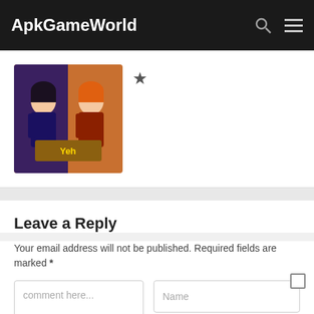ApkGameWorld
[Figure (screenshot): Game cover image showing anime-style characters with a golden/orange theme]
Leave a Reply
Your email address will not be published. Required fields are marked *
comment here...
Name
Email
Website / url